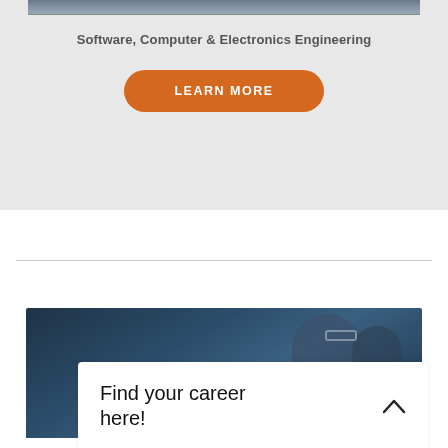[Figure (photo): Partial top photo showing persons, cropped at the top edge]
Software, Computer & Electronics Engineering
LEARN MORE
[Figure (photo): Two people (man with glasses, woman) looking at a screen in a dark tech environment with a white popup overlay reading 'Find your career here!']
Find your career here!